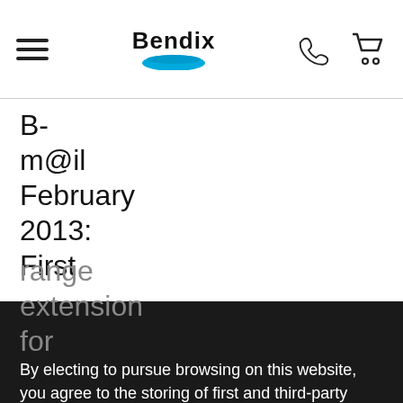Bendix
B-m@il February 2013: First range extension for
By electing to pursue browsing on this website, you agree to the storing of first and third-party cookies on your web browser to enhance site navigation, analyse site usage, and assist in our marketing effort. For more information on how we use cookies, or to learn how you can disable cookies please see our Cookie Policy.